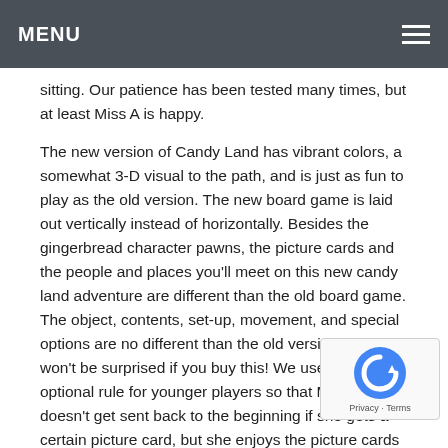MENU
sitting. Our patience has been tested many times, but at least Miss A is happy.
The new version of Candy Land has vibrant colors, a somewhat 3-D visual to the path, and is just as fun to play as the old version. The new board game is laid out vertically instead of horizontally. Besides the gingerbread character pawns, the picture cards and the people and places you'll meet on this new candy land adventure are different than the old board game. The object, contents, set-up, movement, and special options are no different than the old version. So you won't be surprised if you buy this! We use the special optional rule for younger players so that Miss A doesn't get sent back to the beginning if she gets a certain picture card, but she enjoys the picture cards so much, she doesn't get the strategy. She sure gets it when she doesn't win though! It would be nice to have more arrows in either